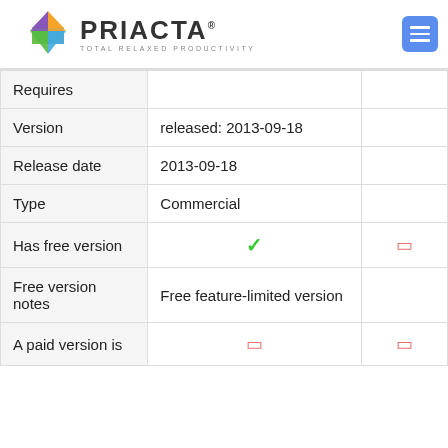PRIACTA® TOTAL RELAXED PRODUCTIVITY
|  |  |  |
| --- | --- | --- |
| Requires |  |  |
| Version | released: 2013-09-18 |  |
| Release date | 2013-09-18 |  |
| Type | Commercial |  |
| Has free version | ✓ | ☐ |
| Free version notes | Free feature-limited version |  |
| A paid version is | ☐ | ☐ |